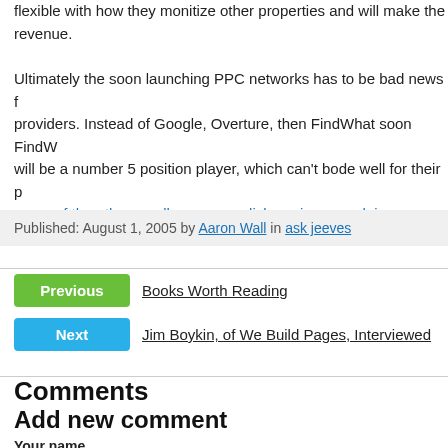flexible with how they monitize other properties and will make the revenue.
Ultimately the soon launching PPC networks has to be bad news for providers. Instead of Google, Overture, then FindWhat soon FindW will be a number 5 position player, which can't bode well for their p some of the other smaller pay per click engines are doing.
Published: August 1, 2005 by Aaron Wall in ask jeeves
Previous | Books Worth Reading
Next | Jim Boykin, of We Build Pages, Interviewed
Comments
Add new comment
Your name